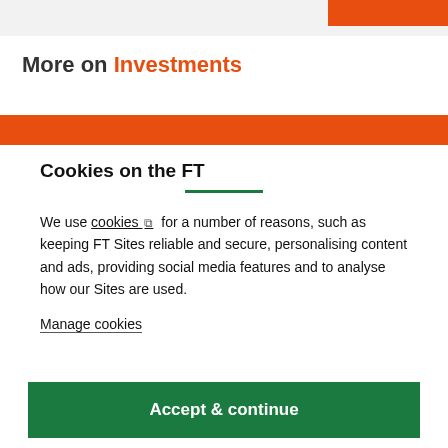More on Investments
Cookies on the FT
We use cookies ⧉ for a number of reasons, such as keeping FT Sites reliable and secure, personalising content and ads, providing social media features and to analyse how our Sites are used.
Manage cookies
Accept & continue